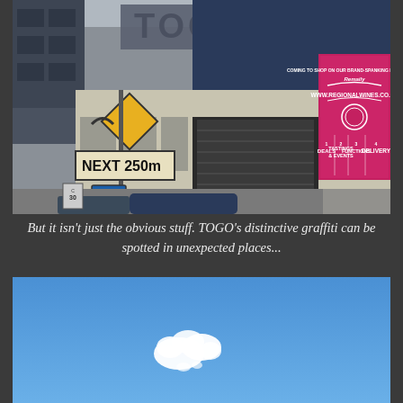[Figure (photo): Street scene with TOGO graffiti visible on building rooftop, road signs including a speed bump warning sign and 'NEXT 250m', a blue parking sign, and a pink billboard advertising Regional Wines website with sections for Deals, Tastings & Events, Functions, and Delivery.]
But it isn't just the obvious stuff. TOGO's distinctive graffiti can be spotted in unexpected places...
[Figure (photo): Blue sky with a single small white cloud, possibly shaped vaguely like letters or a figure.]